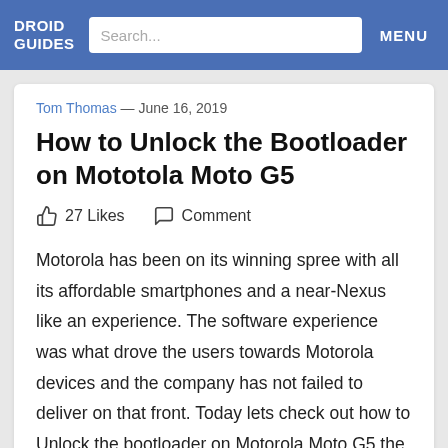DROID GUIDES  Search...  MENU
Tom Thomas — June 16, 2019
How to Unlock the Bootloader on Mototola Moto G5
27 Likes   Comment
Motorola has been on its winning spree with all its affordable smartphones and a near-Nexus like an experience. The software experience was what drove the users towards Motorola devices and the company has not failed to deliver on that front. Today lets check out how to Unlock the bootloader on Motorola Moto G5 the latest edition of their G series smartphones.